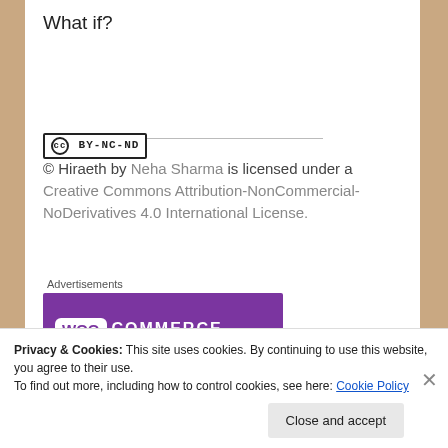What if?
[Figure (logo): Creative Commons BY-NC-ND badge]
© Hiraeth by Neha Sharma is licensed under a Creative Commons Attribution-NonCommercial-NoDerivatives 4.0 International License.
Advertisements
[Figure (logo): WooCommerce advertisement banner with purple background and white WooCommerce logo]
Privacy & Cookies: This site uses cookies. By continuing to use this website, you agree to their use.
To find out more, including how to control cookies, see here: Cookie Policy
Close and accept